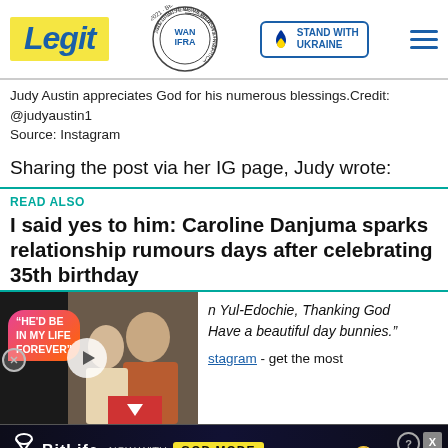[Figure (logo): Legit.ng website header with Legit logo in yellow, WAN-IFRA 2021 Best News Website in Africa award badge, Stand With Ukraine badge, and hamburger menu icon]
Judy Austin appreciates God for his numerous blessings.Credit: @judyaustin1
Source: Instagram
Sharing the post via her IG page, Judy wrote:
READ ALSO
I said yes to him: Caroline Danjuma sparks relationship rumours days after celebrating 35th birthday
[Figure (screenshot): Video thumbnail showing two people with text overlay 'HE'D BE IN MY LIFE FOREVER' on pink/orange speech bubble, with play button, alongside italic text about Yul-Edochie, Thanking God, 'Have a beautiful day bunnies.' and Instagram link saying get the most]
[Figure (other): BitLife advertisement banner - Now with GOD MODE, with question mark and close button]